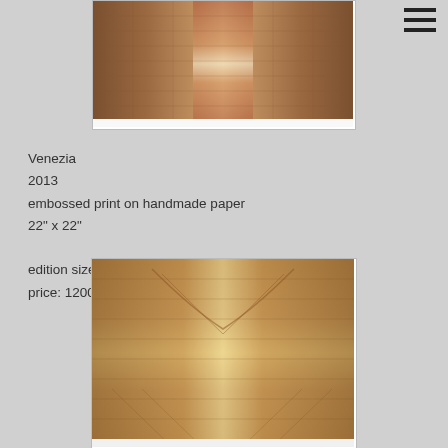[Figure (photo): Top portion of an embossed print artwork titled Venezia, showing textured architectural patterns in warm brown tones]
Venezia
2013
embossed print on handmade paper
22" x 22"

edition size: 30
price: 1200.00 (shipping & tax included)
[Figure (photo): Bottom portion of an embossed print artwork showing detailed embossed patterns on handmade paper with warm golden-brown tones]